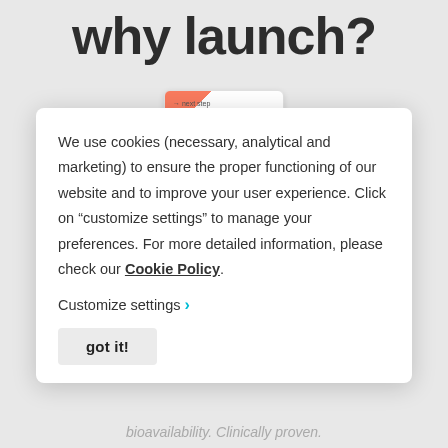why launch?
[Figure (screenshot): Partial product package/label snippet visible at top of cookie modal overlay]
We use cookies (necessary, analytical and marketing) to ensure the proper functioning of our website and to improve your user experience. Click on “customize settings” to manage your preferences. For more detailed information, please check our Cookie Policy.
Customize settings ›
got it!
bioavailability. Clinically proven.